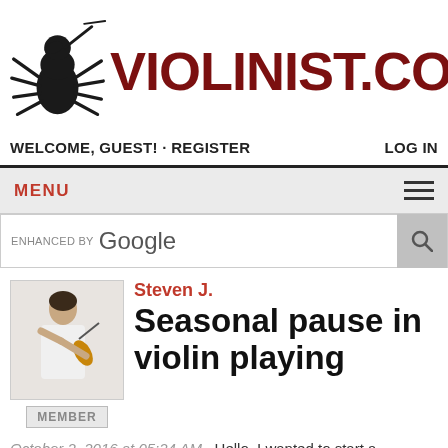[Figure (logo): Violinist.com logo with spider playing violin and red bold text VIOLINIST.COM]
WELCOME, GUEST! · REGISTER    LOG IN
MENU
ENHANCED BY Google
Steven J.
Seasonal pause in violin playing
[Figure (photo): Photo of a person playing violin, thumbnail size]
MEMBER
October 2, 2016 at 05:24 AM · Hello, I wanted to start a discussion regarding seasonal pause in violin playing in non-professional violin players.